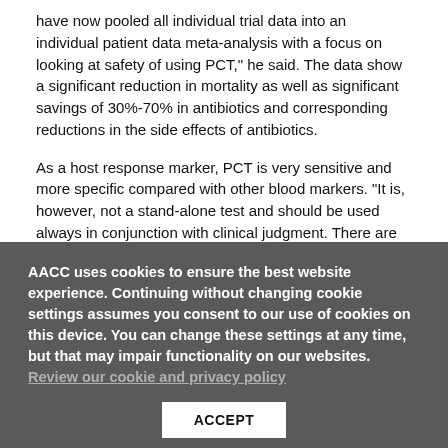have now pooled all individual trial data into an individual patient data meta-analysis with a focus on looking at safety of using PCT," he said. The data show a significant reduction in mortality as well as significant savings of 30%-70% in antibiotics and corresponding reductions in the side effects of antibiotics.
As a host response marker, PCT is very sensitive and more specific compared with other blood markers. "It is, however, not a stand-alone test and should be used always in conjunction with clinical judgment. There are false positive and false negative values, and the clinical context is thus important to consider when making decisions about patient treatment and management," Schuetz said.
AACC uses cookies to ensure the best website experience. Continuing without changing cookie settings assumes you consent to our use of cookies on this device. You can change these settings at any time, but that may impair functionality on our websites. Review our cookie and privacy policy